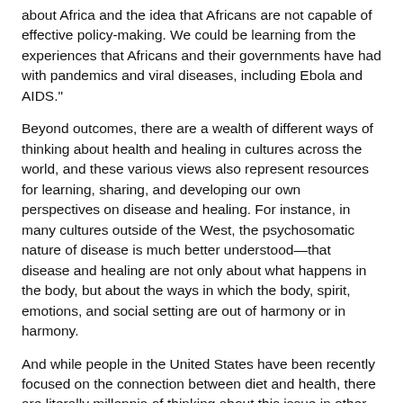about Africa and the idea that Africans are not capable of effective policy-making. We could be learning from the experiences that Africans and their governments have had with pandemics and viral diseases, including Ebola and AIDS."
Beyond outcomes, there are a wealth of different ways of thinking about health and healing in cultures across the world, and these various views also represent resources for learning, sharing, and developing our own perspectives on disease and healing. For instance, in many cultures outside of the West, the psychosomatic nature of disease is much better understood—that disease and healing are not only about what happens in the body, but about the ways in which the body, spirit, emotions, and social setting are out of harmony or in harmony.
And while people in the United States have been recently focused on the connection between diet and health, there are literally millennia of thinking about this issue in other cultures around the world that can offer potential insights.